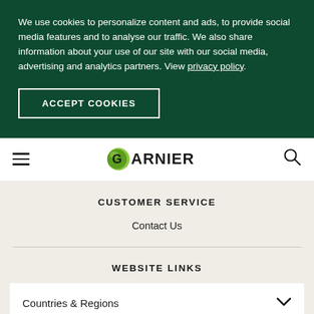We use cookies to personalize content and ads, to provide social media features and to analyse our traffic. We also share information about your use of our site with our social media, advertising and analytics partners. View privacy policy.
ACCEPT COOKIES
[Figure (logo): Garnier logo with green circle and GARNIER text]
CUSTOMER SERVICE
Contact Us
WEBSITE LINKS
Countries & Regions